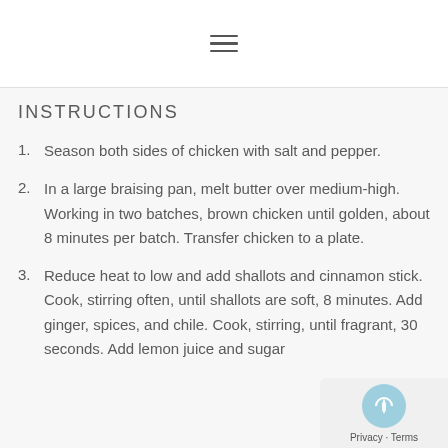≡
INSTRUCTIONS
Season both sides of chicken with salt and pepper.
In a large braising pan, melt butter over medium-high. Working in two batches, brown chicken until golden, about 8 minutes per batch. Transfer chicken to a plate.
Reduce heat to low and add shallots and cinnamon stick. Cook, stirring often, until shallots are soft, 8 minutes. Add ginger, spices, and chile. Cook, stirring, until fragrant, 30 seconds. Add lemon juice and sugar